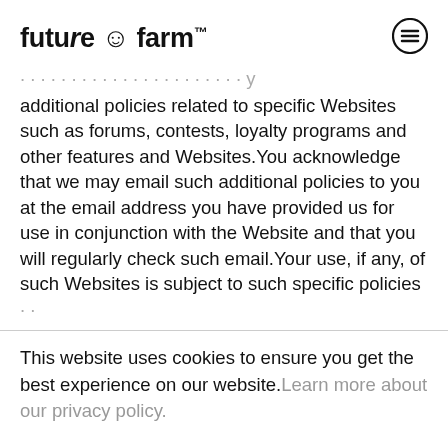future © farm™
additional policies related to specific Websites such as forums, contests, loyalty programs and other features and Websites.You acknowledge that we may email such additional policies to you at the email address you have provided us for use in conjunction with the Website and that you will regularly check such email.Your use, if any, of such Websites is subject to such specific policies
This website uses cookies to ensure you get the best experience on our website. Learn more about our privacy policy.
DECLINE ALL   ACCEPT ALL